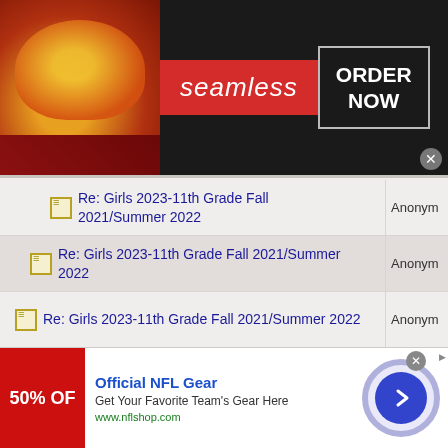[Figure (screenshot): Seamless food delivery advertisement banner with pizza image, red seamless badge, and ORDER NOW button on dark background]
Re: Girls 2023-11th Grade Fall 2021/Summer 2022  Anonym
Re: Girls 2023-11th Grade Fall 2021/Summer 2022  Anonym
Re: Girls 2023-11th Grade Fall 2021/Summer 2022  Anonym
Re: Girls 2023-11th Grade Fall 2021/Summer 2022  Anonym
Re: Girls 2023-11th Grade Fall 2021/Summer 2022  Anonym
Re: Girls 2023-11th Grade Fall 2021/Summer 2022  Anonym
Re: Girls 2023-11th Grade Fall 2021/Summer 2022  Anonym
[Figure (screenshot): Official NFL Gear advertisement with 50% OFF banner, description, nflshop.com URL, and blue arrow button]